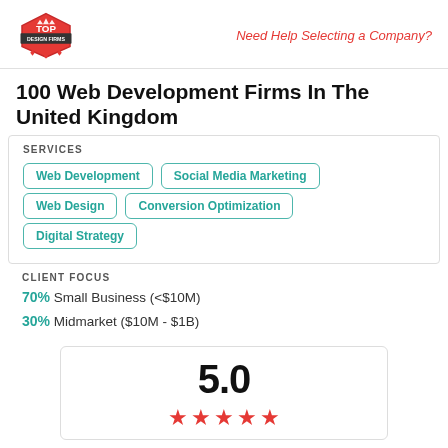Top Design Firms | Need Help Selecting a Company?
100 Web Development Firms In The United Kingdom
SERVICES
Web Development
Social Media Marketing
Web Design
Conversion Optimization
Digital Strategy
CLIENT FOCUS
70% Small Business (<$10M)
30% Midmarket ($10M - $1B)
5.0 (5 stars)